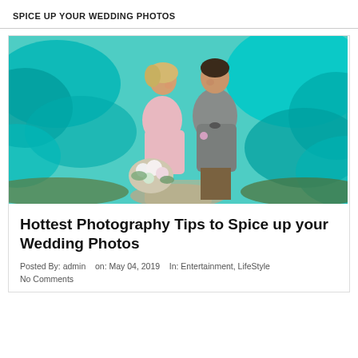SPICE UP YOUR WEDDING PHOTOS
[Figure (photo): A couple (bride in pink dress holding bouquet, groom in gray tweed jacket) standing close together about to kiss, surrounded by dramatic teal/turquoise smoke on a garden path.]
Hottest Photography Tips to Spice up your Wedding Photos
Posted By: admin   on: May 04, 2019   In: Entertainment, LifeStyle
No Comments